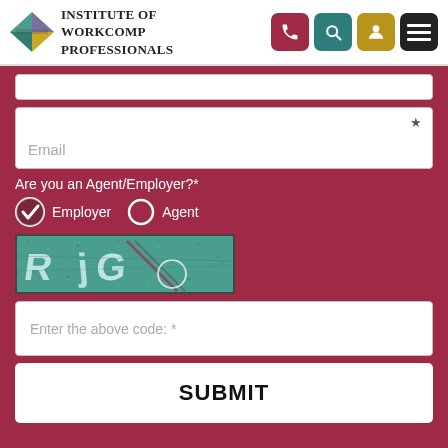[Figure (logo): Institute of WorkComp Professionals logo with colorful diamond icon and serif text]
[Figure (screenshot): Website navigation header with phone, search, user, and menu icon buttons in red, teal, gold, and black]
Email *
Are you an Agent/Employer?*
Employer (checked) Agent (unchecked)
[Figure (photo): CAPTCHA image with distorted text on teal background reading RjG with circle overlay]
Enter the above code: *
SUBMIT